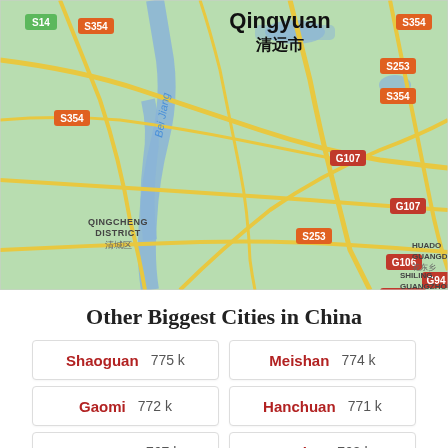[Figure (map): Google Maps view of Qingyuan (清远市) city area in Guangdong, China, showing road network with labeled highways (S14, S354, S253, G107, G106, G94, G0423, S381), Bei Jiang river, Qingcheng District (清城区), Shiling Guangzhou (狮岭镇), and partial labels for Huado Guangd (花东乡).]
Other Biggest Cities in China
Shaoguan 775k | Meishan 774k | Gaomi 772k | Hanchuan 771k | Danyang 767k | Anqing 762k | Anqiu 758k | Zigong 757k